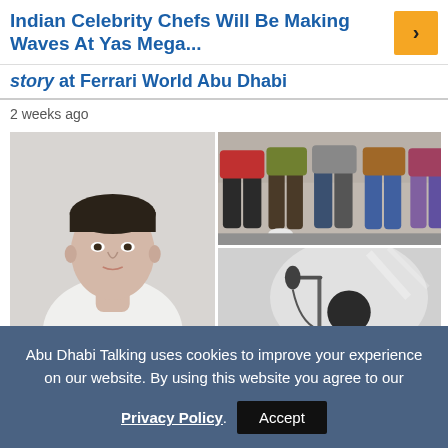Indian Celebrity Chefs Will Be Making Waves At Yas Mega...
story at Ferrari World Abu Dhabi
2 weeks ago
[Figure (photo): Collage of three photos: left - young man portrait in white shirt against grey background; top right - group of people walking, shot from waist down; bottom right - performer at microphone in black and white]
Abu Dhabi Talking uses cookies to improve your experience on our website. By using this website you agree to our Privacy Policy. Accept